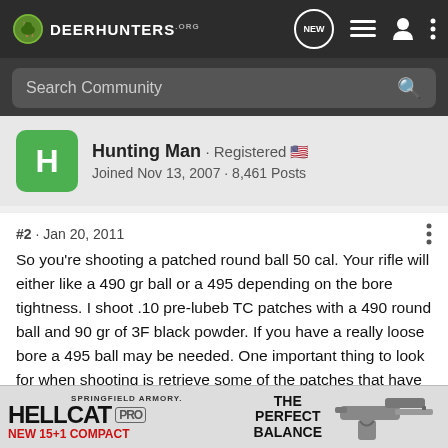DeerHunters.org
Search Community
Hunting Man · Registered
Joined Nov 13, 2007 · 8,461 Posts
#2 · Jan 20, 2011
So you're shooting a patched round ball 50 cal. Your rifle will either like a 490 gr ball or a 495 depending on the bore tightness. I shoot .10 pre-lubeb TC patches with a 490 round ball and 90 gr of 3F black powder. If you have a really loose bore a 495 ball may be needed. One important thing to look for when shooting is retrieve some of the patches that have exited the barrel and check for burn through. You should have a patch with no holes and the rifling marks clearly on it. Using pre-lubed patches... through...
[Figure (advertisement): Springfield Armory Hellcat Pro advertisement banner with text 'NEW 15+1 COMPACT' and 'THE PERFECT BALANCE' and image of a handgun]